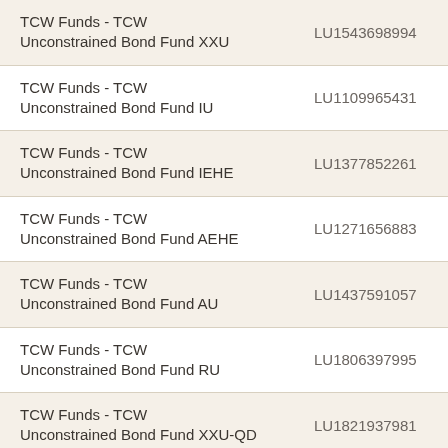| Fund Name | ISIN | Rate |
| --- | --- | --- |
| TCW Funds - TCW Unconstrained Bond Fund XXU | LU1543698994 | 0,00 % |
| TCW Funds - TCW Unconstrained Bond Fund IU | LU1109965431 | 0,70 % |
| TCW Funds - TCW Unconstrained Bond Fund IEHE | LU1377852261 | 0,70 % |
| TCW Funds - TCW Unconstrained Bond Fund AEHE | LU1271656883 | 1,40 % |
| TCW Funds - TCW Unconstrained Bond Fund AU | LU1437591057 | 1,40 % |
| TCW Funds - TCW Unconstrained Bond Fund RU | LU1806397995 | 0,70 % |
| TCW Funds - TCW Unconstrained Bond Fund XXU-QD | LU1821937981 | 0,00 % |
| TCW Funds - TCW |  |  |